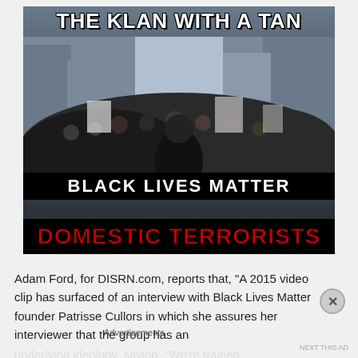[Figure (photo): Meme image showing a photo of a Black Lives Matter march/protest in a city street, with large crowd of protesters. Overlaid text at top reads 'THE KLAN WITH A TAN' in white bold letters. A banner in the crowd reads 'BLACK LIVES MATTER'. At the bottom of the image, red bold text on black background reads 'DOMESTIC TERRORISTS'.]
Adam Ford, for DISRN.com, reports that, “A 2015 video clip has surfaced of an interview with Black Lives Matter founder Patrisse Cullors in which she assures her interviewer that the group has an underlying ideology, saying, “We’re trained
Advertisements